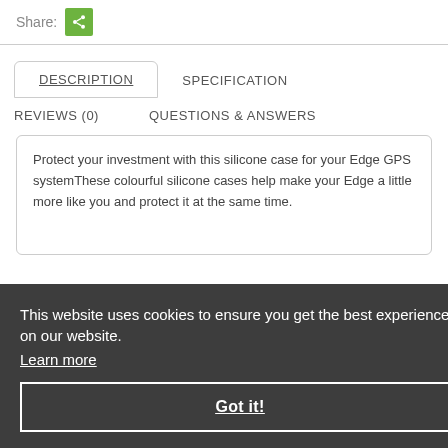Share:
DESCRIPTION
SPECIFICATION
REVIEWS (0)
QUESTIONS & ANSWERS
Protect your investment with this silicone case for your Edge GPS systemThese colourful silicone cases help make your Edge a little more like you and protect it at the same time.
This website uses cookies to ensure you get the best experience on our website.
Learn more
Got it!